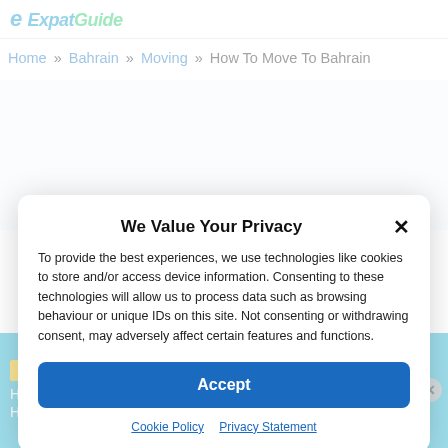Expat Guide (logo)
Home » Bahrain » Moving » How To Move To Bahrain
We Value Your Privacy
To provide the best experiences, we use technologies like cookies to store and/or access device information. Consenting to these technologies will allow us to process data such as browsing behaviour or unique IDs on this site. Not consenting or withdrawing consent, may adversely affect certain features and functions.
Accept
Cookie Policy   Privacy Statement
FREE VIDEO COURSE
How To Choose International Health Insurance
SIGN UP NOW